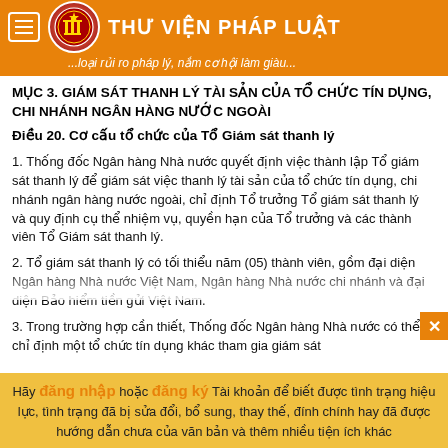THƯ VIỆN PHÁP LUẬT ...loại rủi ro pháp lý, nắm cơ hội làm giàu...
MỤC 3. GIÁM SÁT THANH LÝ TÀI SẢN CỦA TỔ CHỨC TÍN DỤNG, CHI NHÁNH NGÂN HÀNG NƯỚC NGOÀI
Điều 20. Cơ cấu tổ chức của Tổ Giám sát thanh lý
1. Thống đốc Ngân hàng Nhà nước quyết định việc thành lập Tổ giám sát thanh lý để giám sát việc thanh lý tài sản của tổ chức tín dụng, chi nhánh ngân hàng nước ngoài, chỉ định Tổ trưởng Tổ giám sát thanh lý và quy định cụ thể nhiệm vụ, quyền hạn của Tổ trưởng và các thành viên Tổ Giám sát thanh lý.
2. Tổ giám sát thanh lý có tối thiểu năm (05) thành viên, gồm đại diện Ngân hàng Nhà nước Việt Nam, Ngân hàng Nhà nước chi nhánh và đại diện Bảo hiểm tiền gửi Việt Nam.
3. Trong trường hợp cần thiết, Thống đốc Ngân hàng Nhà nước có thể chỉ định một tổ chức tín dụng khác tham gia giám sát...
Hãy đăng nhập hoặc đăng ký Tài khoản để biết được tình trạng hiệu lực, tình trạng đã bị sửa đổi, bổ sung, thay thế, đính chính hay đã được hướng dẫn chưa của văn bản và thêm nhiều tiện ích khác